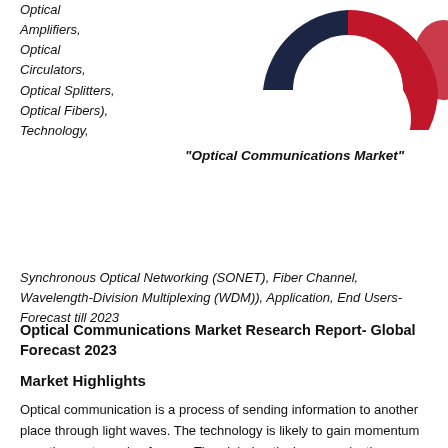[Figure (donut-chart): Partial donut/pie chart in red and dark navy/dark blue colors, cropped at top-right corner of page]
Optical Amplifiers, Optical Circulators, Optical Splitters, Optical Fibers), Technology,
"Optical Communications Market"
Synchronous Optical Networking (SONET), Fiber Channel, Wavelength-Division Multiplexing (WDM)), Application, End Users- Forecast till 2023
Optical Communications Market Research Report- Global Forecast 2023
Market Highlights
Optical communication is a process of sending information to another place through light waves. The technology is likely to gain momentum over the next couple of years. The global optical communications market, according to